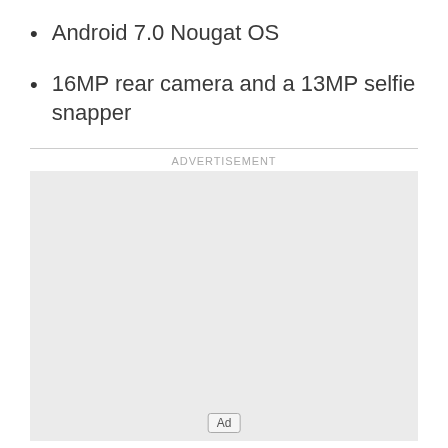Android 7.0 Nougat OS
16MP rear camera and a 13MP selfie snapper
ADVERTISEMENT
[Figure (other): Advertisement placeholder box with 'Ad' badge at bottom center]